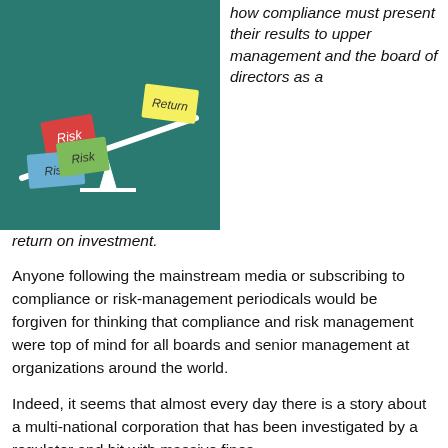[Figure (illustration): A balance/seesaw illustration on a teal/dark green background showing three colored cards labeled 'Risk' (red, blue, and green) on the heavy side, outweighing a yellow card labeled 'Return' on the raised side.]
how compliance must present their results to upper management and the board of directors as a return on investment.
Anyone following the mainstream media or subscribing to compliance or risk-management periodicals would be forgiven for thinking that compliance and risk management were top of mind for all boards and senior management at organizations around the world.
Indeed, it seems that almost every day there is a story about a multi-national corporation that has been investigated by a regulator and hit with massive fines